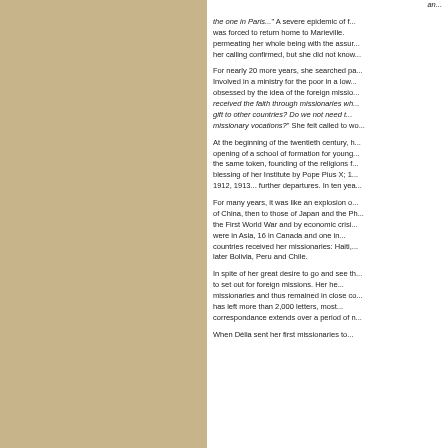an... the one in Paris..." A severe epidemic of f... was forced to return home to Marieville. permeating her whole being with the assur... her calling confirmed, but she did not know...

For nearly 20 more years, she searched pa... Involved in a ministry for the poor in a low... obsessed by the idea of the foreign missio... received the faith through missionaries wh... gift to other countries? Do we not need t... missionary vocations?" She felt called to wo...

At the beginning of the twentieth century, h... opening of a school of formation for young... the same token, founding of the religions f... blessing of her Institute by Pope Pius X; 1... 1912, 1913... further departures. In ten yea...

For many years, it was like an explosion o... of China, then to those of Japan and the Ph... the First World War and by economic crisi... were in Asia, 16 in Canada and one in... countries received her missionaries: Haiti,... later Bolivia, Peru and Chile.

In spite of her great desire to go and see th... to set out for foreign missions. Her he... missionaries and thus remained in close co... has left more than 2,000 letters, most... correspondance extends over a period of n...

When Délia sent her first missionaries to...